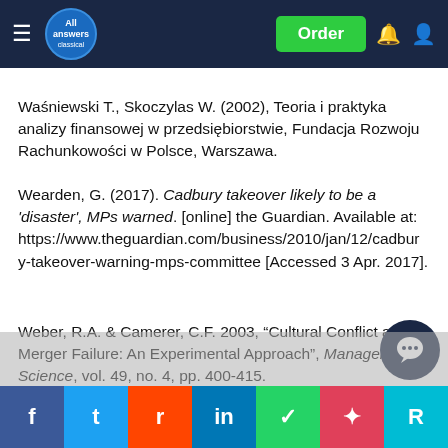All Answers - Order
Waśniewski T., Skoczylas W. (2002), Teoria i praktyka analizy finansowej w przedsiębiorstwie, Fundacja Rozwoju Rachunkowości w Polsce, Warszawa.
Wearden, G. (2017). Cadbury takeover likely to be a 'disaster', MPs warned. [online] the Guardian. Available at: https://www.theguardian.com/business/2010/jan/12/cadbury-takeover-warning-mps-committee [Accessed 3 Apr. 2017].
Weber, R.A. & Camerer, C.F. 2003, "Cultural Conflict and Merger Failure: An Experimental Approach", Management Science, vol. 49, no. 4, pp. 400-415.
Weber, Y. and Pliskin, N. (1996) 'The effects of information systems integration and organizational a firm's effectiveness', no.2, pp.